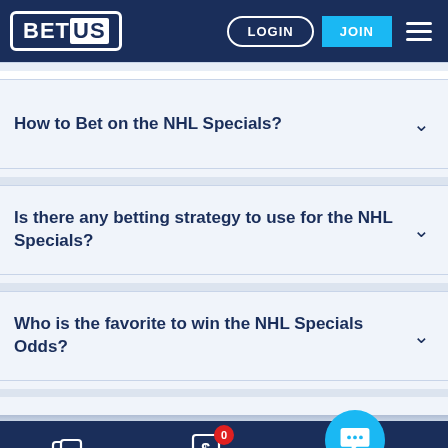[Figure (screenshot): BetUS website header with logo, LOGIN button, JOIN button, and hamburger menu]
How to Bet on the NHL Specials?
Is there any betting strategy to use for the NHL Specials?
Who is the favorite to win the NHL Specials Odds?
[Figure (screenshot): Bottom navigation bar with CASINO, BET SLIP (badge 0), and CHAT icons, plus a floating chat bubble button]